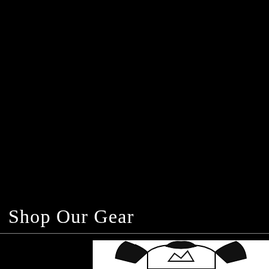Shop Our Gear
[Figure (photo): Partial view of a black and white sports jersey or raglan shirt visible at the bottom of the page, shown against a white background rectangle on a black page background.]